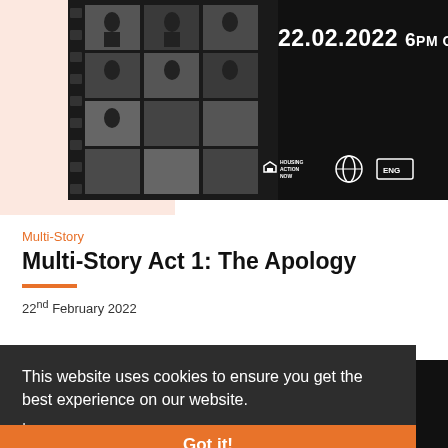[Figure (photo): Event promotional banner with black background, film strip images of people on the left, large white text '22.02.2022 6PM ONLINE', and logos for Housing Action Now and other organizations at bottom right]
Multi-Story
Multi-Story Act 1: The Apology
22nd February 2022
This website uses cookies to ensure you get the best experience on our website. Learn more
Got it!